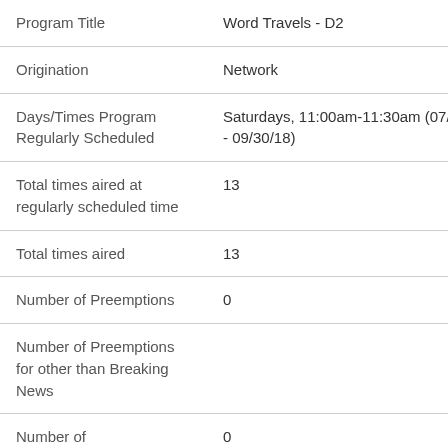| Field | Value |
| --- | --- |
| Program Title | Word Travels - D2 |
| Origination | Network |
| Days/Times Program Regularly Scheduled | Saturdays, 11:00am-11:30am (07/01/18 - 09/30/18) |
| Total times aired at regularly scheduled time | 13 |
| Total times aired | 13 |
| Number of Preemptions | 0 |
| Number of Preemptions for other than Breaking News |  |
| Number of | 0 |